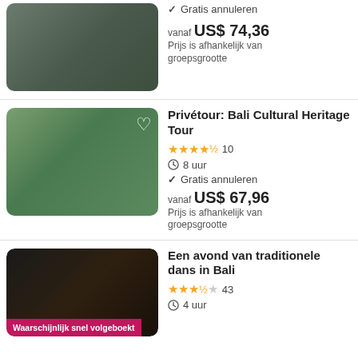[Figure (photo): People with bicycles on a path surrounded by trees and greenery]
✓ Gratis annuleren
vanaf US$ 74,36
Prijs is afhankelijk van groepsgrootte
[Figure (photo): Woman wearing a pink jacket and blue face mask standing on steps at a Balinese cultural site with gardens and pergolas]
Privétour: Bali Cultural Heritage Tour
★★★★½ 10
⏱ 8 uur
✓ Gratis annuleren
vanaf US$ 67,96
Prijs is afhankelijk van groepsgrootte
[Figure (photo): Balinese dancer in traditional costume with elaborate golden headdress and flowers]
Waarschijnlijk snel volgeboekt
Een avond van traditionele dans in Bali
★★★½☆ 43
⏱ 4 uur